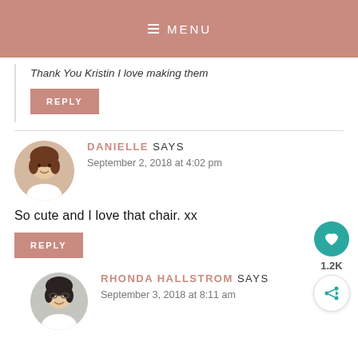MENU
Thank You Kristin I love making them
REPLY
DANIELLE SAYS
September 2, 2018 at 4:02 pm
So cute and I love that chair. xx
REPLY
1.2K
RHONDA HALLSTROM SAYS
September 3, 2018 at 8:11 am